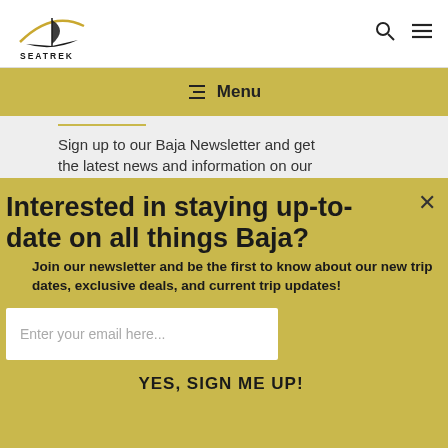[Figure (logo): SeaTrek logo — stylized boat with arc, text SEATREK below]
[Figure (illustration): Search icon (magnifying glass) and hamburger menu icon in top-right header]
☰ Menu
Sign up to our Baja Newsletter and get the latest news and information on our
Interested in staying up-to-date on all things Baja?
Join our newsletter and be the first to know about our new trip dates, exclusive deals, and current trip updates!
Enter your email here...
YES, SIGN ME UP!